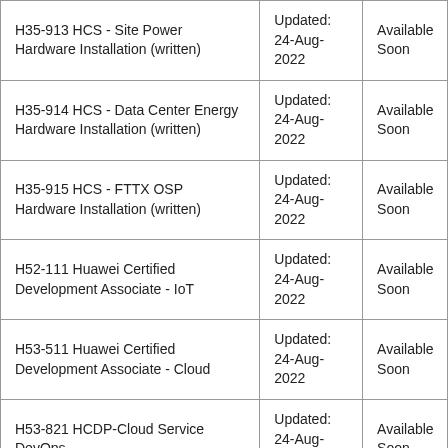| H35-913 HCS - Site Power Hardware Installation (written) | Updated: 24-Aug-2022 | Available Soon |
| H35-914 HCS - Data Center Energy Hardware Installation (written) | Updated: 24-Aug-2022 | Available Soon |
| H35-915 HCS - FTTX OSP Hardware Installation (written) | Updated: 24-Aug-2022 | Available Soon |
| H52-111 Huawei Certified Development Associate - IoT | Updated: 24-Aug-2022 | Available Soon |
| H53-511 Huawei Certified Development Associate - Cloud | Updated: 24-Aug-2022 | Available Soon |
| H53-821 HCDP-Cloud Service DevOps | Updated: 24-Aug-2022 | Available Soon |
|  |  |  |